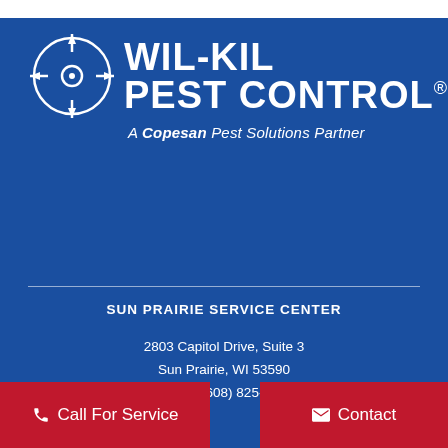[Figure (logo): Wil-Kil Pest Control logo with crosshair/target circle icon and text 'WIL-KIL PEST CONTROL®' with tagline 'A Copesan Pest Solutions Partner' on blue background]
SUN PRAIRIE SERVICE CENTER
2803 Capitol Drive, Suite 3
Sun Prairie, WI 53590
Phone: (608) 825-1000
Call For Service
Contact